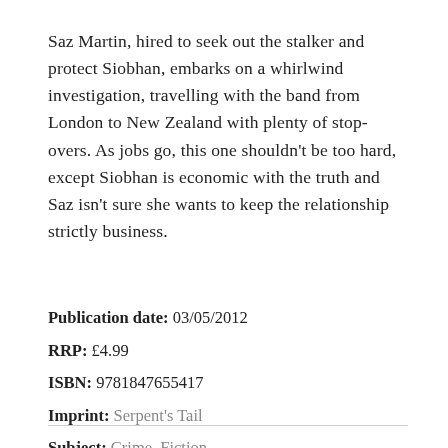Saz Martin, hired to seek out the stalker and protect Siobhan, embarks on a whirlwind investigation, travelling with the band from London to New Zealand with plenty of stop-overs. As jobs go, this one shouldn't be too hard, except Siobhan is economic with the truth and Saz isn't sure she wants to keep the relationship strictly business.
Publication date: 03/05/2012
RRP: £4.99
ISBN: 9781847655417
Imprint: Serpent's Tail
Subject: Crime, Fiction